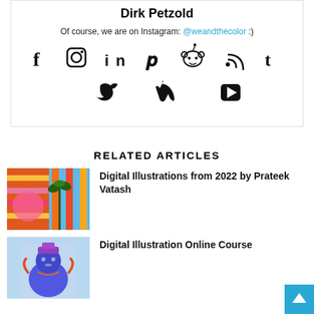Dirk Petzold
Of course, we are on Instagram: @weandthecolor :)
[Figure (other): Social media icons: Facebook, Instagram, LinkedIn, Pinterest, Reddit, RSS, Tumblr, Twitter, Vimeo, YouTube]
RELATED ARTICLES
[Figure (photo): Colorful digital illustration thumbnail - abstract art with palm tree, pink and orange tones]
Digital Illustrations from 2022 by Prateek Vatash
[Figure (photo): Digital illustration thumbnail - blue deity/character with orange details]
Digital Illustration Online Course